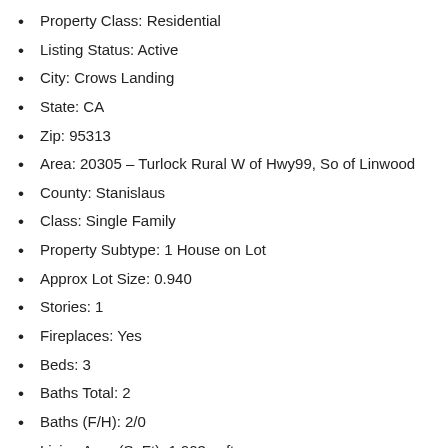Property Class: Residential
Listing Status: Active
City: Crows Landing
State: CA
Zip: 95313
Area: 20305 – Turlock Rural W of Hwy99, So of Linwood
County: Stanislaus
Class: Single Family
Property Subtype: 1 House on Lot
Approx Lot Size: 0.940
Stories: 1
Fireplaces: Yes
Beds: 3
Baths Total: 2
Baths (F/H): 2/0
Living Area (SqFt): 1,903 sqft
Lot Sq Ft Apx: 40946
Garage: 2